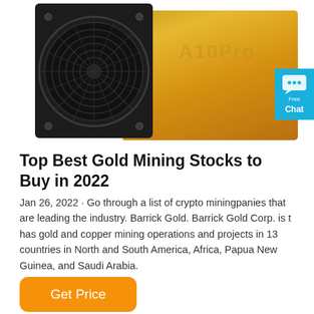[Figure (photo): A10Pro cryptocurrency mining hardware device with a large fan on the left and a gold-colored body on the right with 'A10Pro' text. A blue chat bubble widget is partially visible on the right edge.]
Top Best Gold Mining Stocks to Buy in 2022
Jan 26, 2022 · Go through a list of crypto miningpanies that are leading the industry. Barrick Gold. Barrick Gold Corp. is t has gold and copper mining operations and projects in 13 countries in North and South America, Africa, Papua New Guinea, and Saudi Arabia.
Get Price